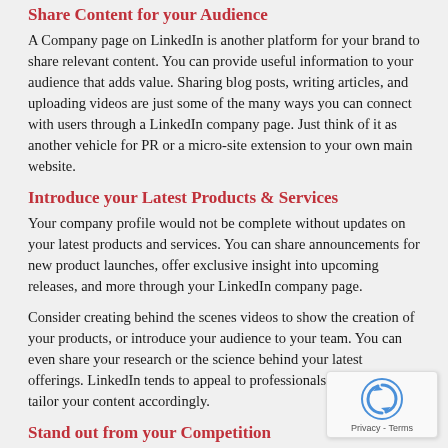Share Content for your Audience
A Company page on LinkedIn is another platform for your brand to share relevant content. You can provide useful information to your audience that adds value. Sharing blog posts, writing articles, and uploading videos are just some of the many ways you can connect with users through a LinkedIn company page. Just think of it as another vehicle for PR or a micro-site extension to your own main website.
Introduce your Latest Products & Services
Your company profile would not be complete without updates on your latest products and services. You can share announcements for new product launches, offer exclusive insight into upcoming releases, and more through your LinkedIn company page.
Consider creating behind the scenes videos to show the creation of your products, or introduce your audience to your team. You can even share your research or the science behind your latest offerings. LinkedIn tends to appeal to professionals, so you can tailor your content accordingly.
Stand out from your Competition
Your company description is a crucial part of your LinkedIn company page, and it can help your brand stand out. This is your space to detail how you are different from other providers in your field and share regular updates on your company.